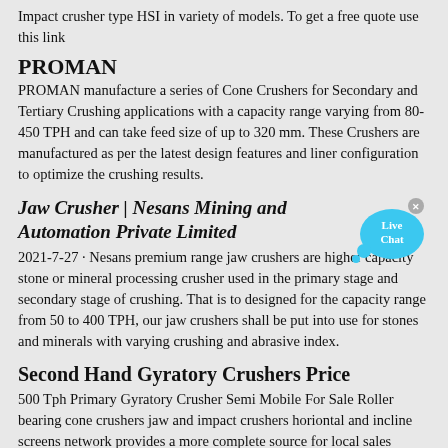Impact crusher type HSI in variety of models. To get a free quote use this link
PROMAN
PROMAN manufacture a series of Cone Crushers for Secondary and Tertiary Crushing applications with a capacity range varying from 80-450 TPH and can take feed size of up to 320 mm. These Crushers are manufactured as per the latest design features and liner configuration to optimize the crushing results.
Jaw Crusher | Nesans Mining and Automation Private Limited
[Figure (illustration): Live Chat widget bubble in blue/cyan color with text 'Live Chat']
2021-7-27 · Nesans premium range jaw crushers are higher capacity stone or mineral processing crusher used in the primary stage and secondary stage of crushing. That is to designed for the capacity range from 50 to 400 TPH, our jaw crushers shall be put into use for stones and minerals with varying crushing and abrasive index.
Second Hand Gyratory Crushers Price
500 Tph Primary Gyratory Crusher Semi Mobile For Sale Roller bearing cone crushers jaw and impact crushers horiontal and incline screens network provides a more complete source for local sales service parts and financing options. , production rates up to 500 tph and primary mobile